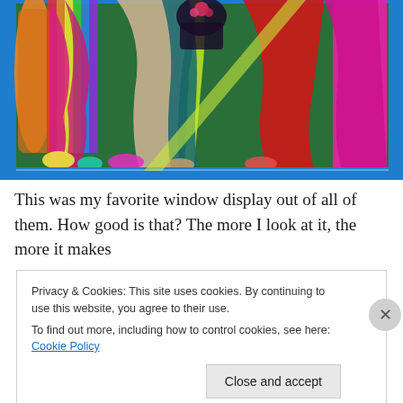[Figure (photo): A colorful shop window display with many draped fabrics in rainbow colors including pink, red, green, teal, yellow, magenta, and beige, framed by a bright blue border.]
This was my favorite window display out of all of them. How good is that? The more I look at it, the more it makes
Privacy & Cookies: This site uses cookies. By continuing to use this website, you agree to their use.
To find out more, including how to control cookies, see here: Cookie Policy
Close and accept